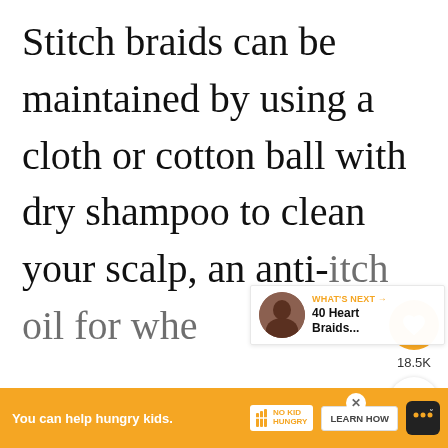Stitch braids can be maintained by using a cloth or cotton ball with dry shampoo to clean your scalp, an anti-itch oil for when
[Figure (screenshot): UI overlay showing heart/like button with count 18.5K and share button on the right side, plus a 'What's Next' panel with thumbnail and text '40 Heart Braids...']
[Figure (infographic): Orange advertisement bar at bottom: 'You can help hungry kids.' with No Kid Hungry logo and LEARN HOW button, plus close X button]